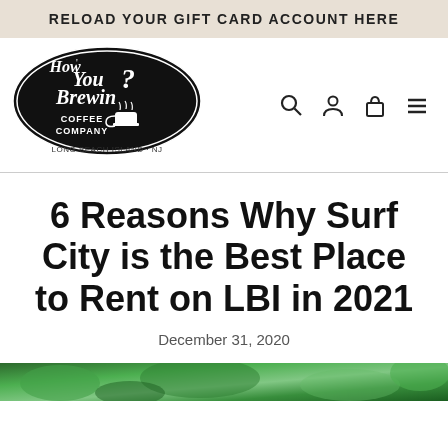RELOAD YOUR GIFT CARD ACCOUNT HERE
[Figure (logo): How You Brewin? Coffee Company — Long Beach Island NJ oval black logo with coffee cup]
6 Reasons Why Surf City is the Best Place to Rent on LBI in 2021
December 31, 2020
[Figure (photo): Partial view of outdoor tropical/beach scene with green foliage]